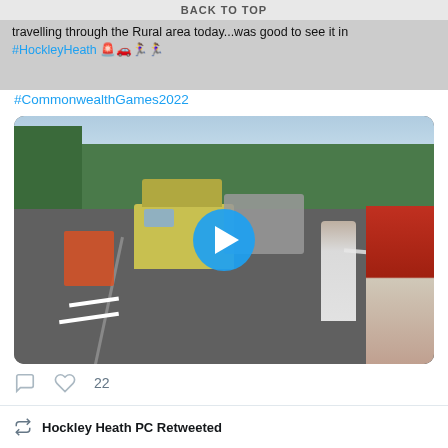BACK TO TOP
travelling through the Rural area today...was good to see it in #HockleyHeath 🚨🚗🏃‍♀️🏃‍♀️
#CommonwealthGames2022
[Figure (photo): A street scene showing a parade or convoy moving through a road in Hockley Heath. People are standing along the roadside. A yellow van is visible in the middle of the road. People in red high-vis and people in casual clothing are visible. A blue play button overlay is in the center of the image.]
22
Hockley Heath PC Retweeted